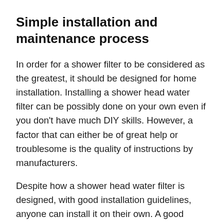Simple installation and maintenance process
In order for a shower filter to be considered as the greatest, it should be designed for home installation. Installing a shower head water filter can be possibly done on your own even if you don't have much DIY skills. However, a factor that can either be of great help or troublesome is the quality of instructions by manufacturers.
Despite how a shower head water filter is designed, with good installation guidelines, anyone can install it on their own. A good installation guideline shouldn't be too wordy and should provide labelled